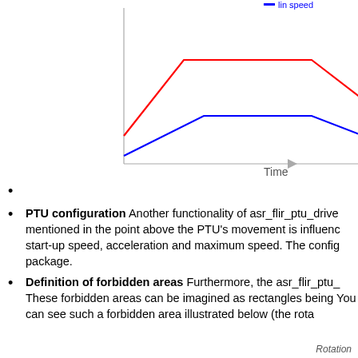[Figure (line-chart): Line chart showing two lines (red and blue) over Time axis. Red line starts mid-height, rises to a plateau, then drops. Blue line starts lower, rises to a lower plateau, then drops. Legend partially visible at top showing 'lin speed' in blue.]
PTU configuration Another functionality of asr_flir_ptu_drive mentioned in the point above the PTU's movement is influenced by start-up speed, acceleration and maximum speed. The config package.
Definition of forbidden areas Furthermore, the asr_flir_ptu_ These forbidden areas can be imagined as rectangles being You can see such a forbidden area illustrated below (the rota
Rotation